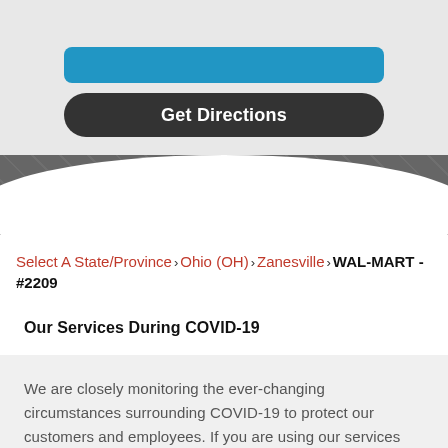[Figure (screenshot): Blue bar button (partially visible) above a dark rounded 'Get Directions' button on a light gray background]
Select A State/Province > Ohio (OH) > Zanesville > WAL-MART - #2209
Our Services During COVID-19
We are closely monitoring the ever-changing circumstances surrounding COVID-19 to protect our customers and employees. If you are using our services during the time, please remember to: